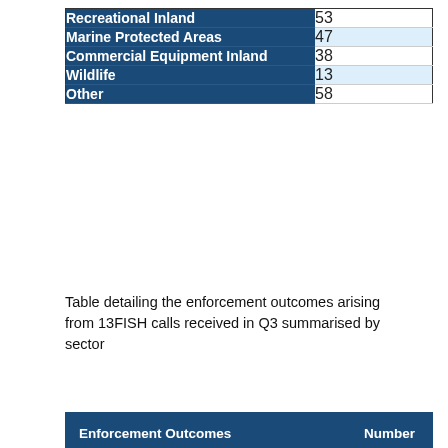|  | Number |
| --- | --- |
| Recreational Inland | 53 |
| Marine Protected Areas | 47 |
| Commercial Equipment Inland | 38 |
| Wildlife | 13 |
| Other | 58 |
Table detailing the enforcement outcomes arising from 13FISH calls received in Q3 summarised by sector
| Enforcement Outcomes | Number |
| --- | --- |